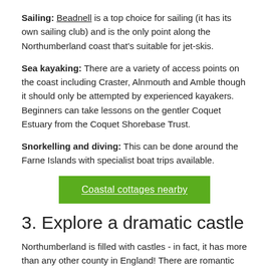Sailing: Beadnell is a top choice for sailing (it has its own sailing club) and is the only point along the Northumberland coast that's suitable for jet-skis.
Sea kayaking: There are a variety of access points on the coast including Craster, Alnmouth and Amble though it should only be attempted by experienced kayakers. Beginners can take lessons on the gentler Coquet Estuary from the Coquet Shorebase Trust.
Snorkelling and diving: This can be done around the Farne Islands with specialist boat trips available.
Coastal cottages nearby
3. Explore a dramatic castle
Northumberland is filled with castles - in fact, it has more than any other county in England! There are romantic ruins, imposing fortresses and fully restored medieval forts. Many of